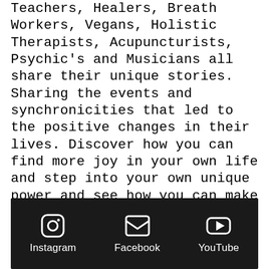Teachers, Healers, Breath Workers, Vegans, Holistic Therapists, Acupuncturists, Psychic's and Musicians all share their unique stories. Sharing the events and synchronicities that led to the positive changes in their lives. Discover how you can find more joy in your own life and step into your own unique power and see how you can make positive changes to your life and relationships. Become empowered to step into your true self and do all the
Instagram  Facebook  YouTube